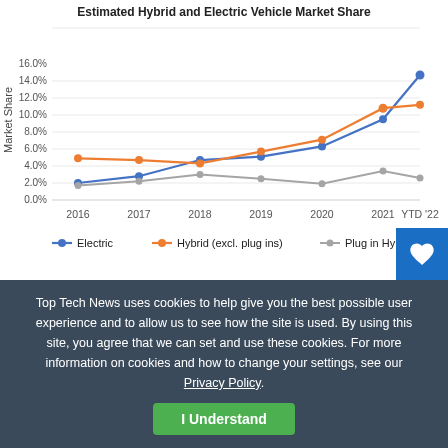[Figure (line-chart): Estimated Hybrid and Electric Vehicle Market Share]
Top Tech News uses cookies to help give you the best possible user experience and to allow us to see how the site is used. By using this site, you agree that we can set and use these cookies. For more information on cookies and how to change your settings, see our Privacy Policy.